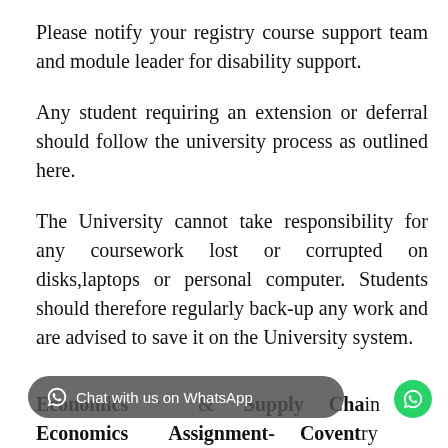Please notify your registry course support team and module leader for disability support.
Any student requiring an extension or deferral should follow the university process as outlined here.
The University cannot take responsibility for any coursework lost or corrupted on disks,laptops or personal computer. Students should therefore regularly back-up any work and are advised to save it on the University system.
MA Logistics & Supply Chain Economics Assignment- Coventry